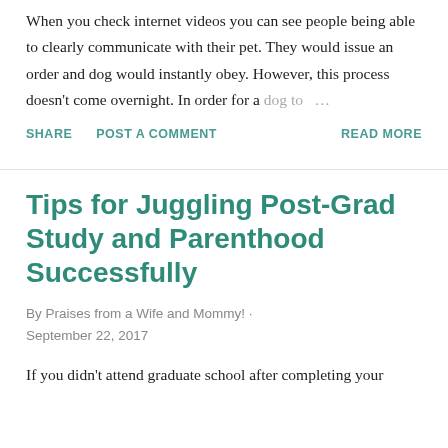When you check internet videos you can see people being able to clearly communicate with their pet. They would issue an order and dog would instantly obey. However, this process doesn't come overnight. In order for a dog to …
SHARE   POST A COMMENT   READ MORE
Tips for Juggling Post-Grad Study and Parenthood Successfully
By Praises from a Wife and Mommy! · September 22, 2017
If you didn't attend graduate school after completing your